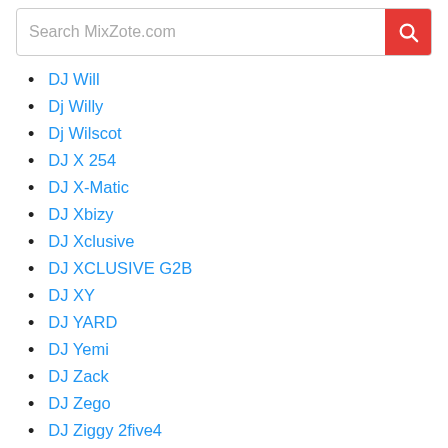Search MixZote.com
DJ Will
Dj Willy
Dj Wilscot
DJ X 254
DJ X-Matic
DJ Xbizy
DJ Xclusive
DJ XCLUSIVE G2B
DJ XY
DJ YARD
DJ Yemi
DJ Zack
DJ Zego
DJ Ziggy 2five4